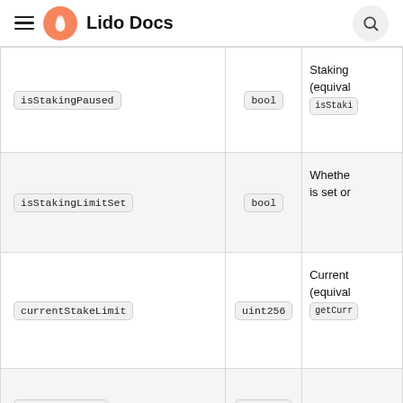Lido Docs
| Name | Type | Description |
| --- | --- | --- |
| isStakingPaused | bool | Staking (equival isStaki |
| isStakingLimitSet | bool | Whether is set or |
| currentStakeLimit | uint256 | Current (equival getCurr |
| maxStakeLimit | uint256 | Max sta |
| maxStakeLimitGrowthBlocks | uint256 | Blocks r max sta |